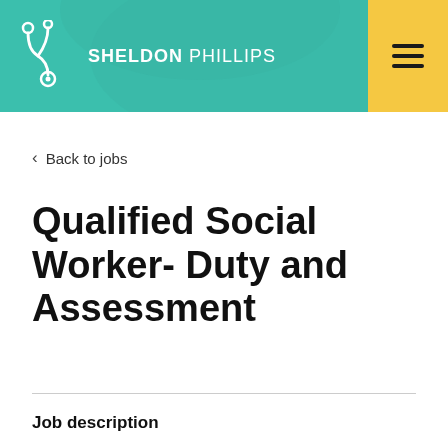SHELDON PHILLIPS
‹ Back to jobs
Qualified Social Worker- Duty and Assessment
Job description